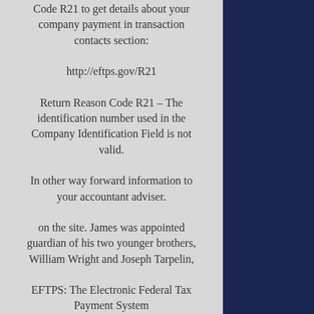Code R21 to get details about your company payment in transaction contacts section:
http://eftps.gov/R21
Return Reason Code R21 – The identification number used in the Company Identification Field is not valid.
In other way forward information to your accountant adviser.
on the site. James was appointed guardian of his two younger brothers, William Wright and Joseph Tarpelin,
EFTPS: The Electronic Federal Tax Payment System